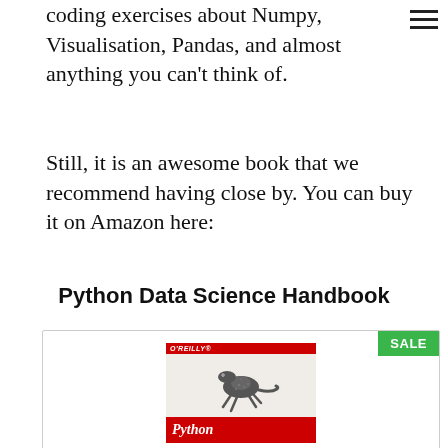coding exercises about Numpy, Visualisation, Pandas, and almost anything you can't think of.
Still, it is an awesome book that we recommend having close by. You can buy it on Amazon here:
Python Data Science Handbook
[Figure (illustration): Book product card with SALE badge showing the Python Data Science Handbook by O'Reilly, featuring a lizard/gecko on the cover with red O'Reilly banner and red bottom bar with 'Python' text]